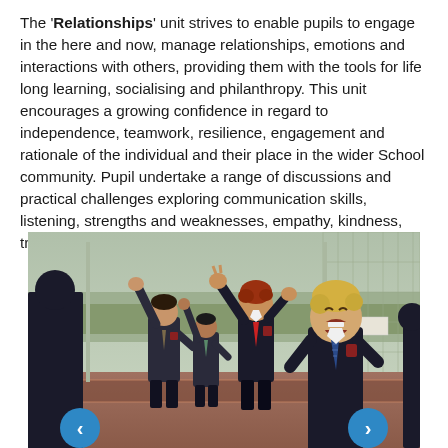The 'Relationships' unit strives to enable pupils to engage in the here and now, manage relationships, emotions and interactions with others, providing them with the tools for life long learning, socialising and philanthropy. This unit encourages a growing confidence in regard to independence, teamwork, resilience, engagement and rationale of the individual and their place in the wider School community. Pupil undertake a range of discussions and practical challenges exploring communication skills, listening, strengths and weaknesses, empathy, kindness, trust, service and teamwork.
[Figure (photo): Group of schoolboys in uniforms celebrating outdoors on a sports court, raising arms in excitement, with a fence and trees in the background. Navigation arrows visible at the bottom left and right.]